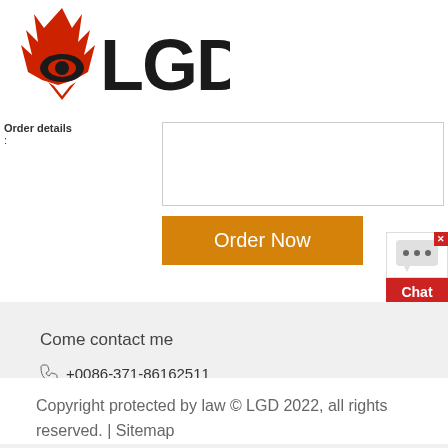[Figure (logo): LGD company logo with flame and shield icon in red/orange and black text 'LGD']
Order details
:
[Figure (other): Orange 'Order Now' button]
[Figure (other): Red 'Chat Now' widget with chat bubble dots icon and X close button]
Come contact me
+0086-371-86162511
lgdcrusherbuy@gmail.com
Copyright protected by law © LGD 2022, all rights reserved. | Sitemap